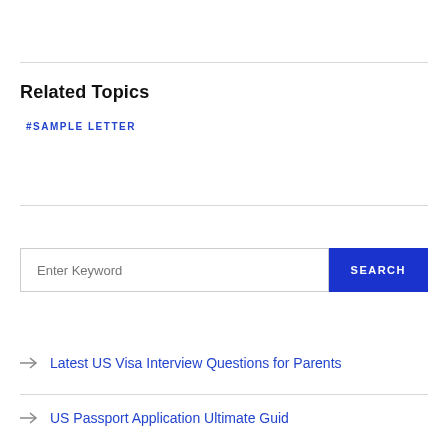Related Topics
#SAMPLE LETTER
[Figure (other): Search bar with 'Enter Keyword' placeholder and a blue SEARCH button]
Latest US Visa Interview Questions for Parents
US Passport Application Ultimate Guide